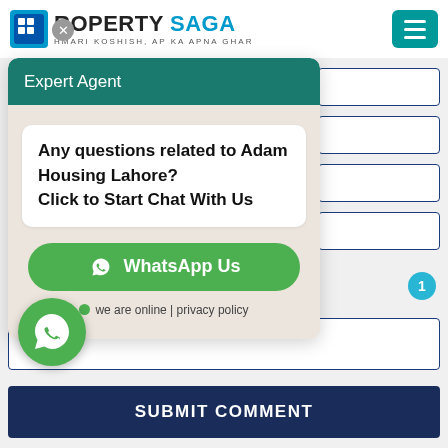[Figure (logo): Property Saga logo with blue P icon and text 'PROPERTY SAGA', subtitle 'HMARI KOSHISH, AP KA APNA GHAR']
[Figure (screenshot): WhatsApp chat widget with teal header 'Expert Agent', chat bubble with bold text 'Any questions related to Adam Housing Lahore? Click to Start Chat With Us', green WhatsApp button, online status indicator]
Email*
SUBMIT COMMENT